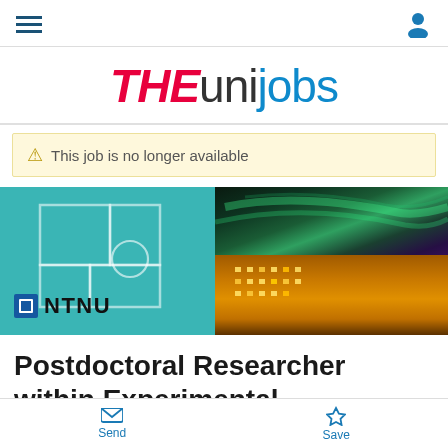THEunijobs - navigation header
[Figure (logo): THEunijobs logo with THE in red italic and unijobs in blue]
This job is no longer available
[Figure (photo): NTNU university banner: left teal panel with NTNU logo and geometric puzzle overlay, right panel showing illuminated building at night with northern lights aurora borealis in sky]
Postdoctoral Researcher within Experimental
Send | Save